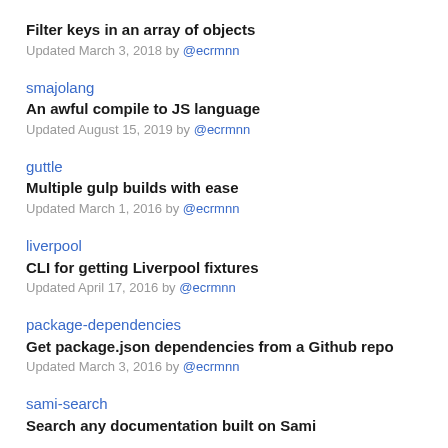Filter keys in an array of objects
Updated March 3, 2018 by @ecrmnn
smajolang
An awful compile to JS language
Updated August 15, 2019 by @ecrmnn
guttle
Multiple gulp builds with ease
Updated March 1, 2016 by @ecrmnn
liverpool
CLI for getting Liverpool fixtures
Updated April 17, 2016 by @ecrmnn
package-dependencies
Get package.json dependencies from a Github repo
Updated March 3, 2016 by @ecrmnn
sami-search
Search any documentation built on Sami